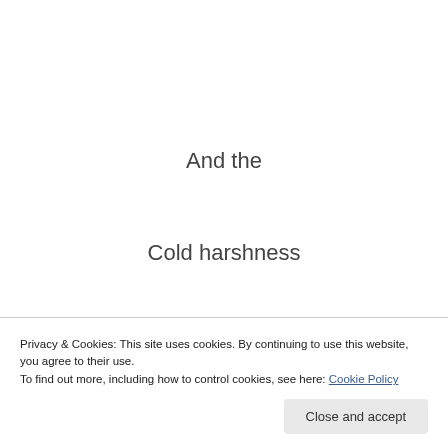And the
Cold harshness
Of time
(dissolves)
When we hear
Him sing
Privacy & Cookies: This site uses cookies. By continuing to use this website, you agree to their use. To find out more, including how to control cookies, see here: Cookie Policy
Close and accept